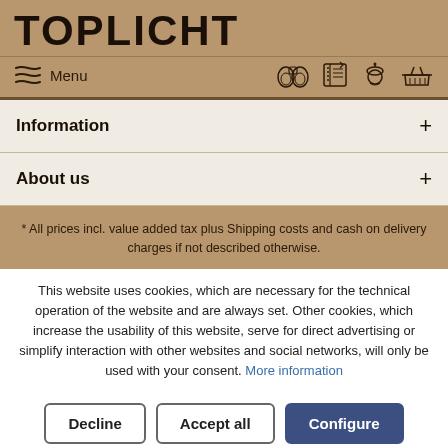TOPLICHT
Menu
Information +
About us +
* All prices incl. value added tax plus Shipping costs and cash on delivery charges if not described otherwise.
This website uses cookies, which are necessary for the technical operation of the website and are always set. Other cookies, which increase the usability of this website, serve for direct advertising or simplify interaction with other websites and social networks, will only be used with your consent. More information
Decline
Accept all
Configure